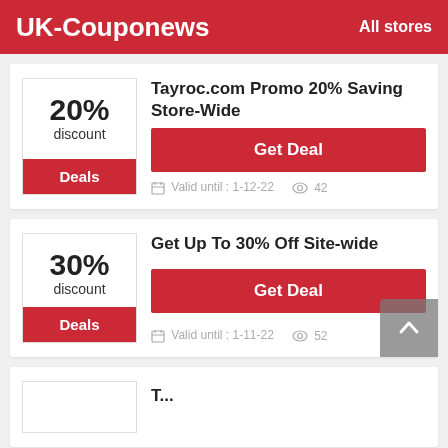UK-Couponews   All stores
Tayroc.com Promo 20% Saving Store-Wide
20% discount
Deals
Get Deal
Valid until : 1-12-22   42
Get Up To 30% Off Site-wide
30% discount
Deals
Get Deal
Valid until : 1-11-22   52
T...